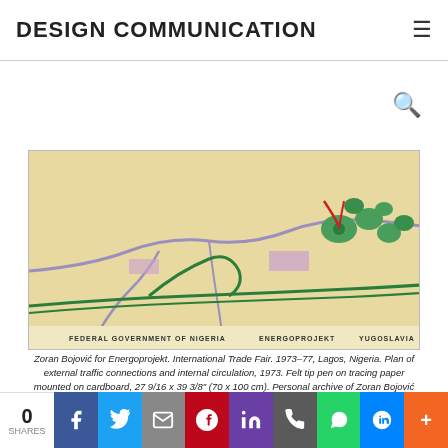DESIGN COMMUNICATION
[Figure (map): Architectural/urban planning map for International Trade Fair, Lagos Nigeria 1973-77. Shows external traffic connections and internal circulation with colored markings on tracing paper. Bottom text reads: FEDERAL GOVERNMENT OF NIGERIA | ENERGOPROJEKT | YUGOSLAVIA]
Zoran Bojović for Energoprojekt. International Trade Fair. 1973–77, Lagos, Nigeria. Plan of external traffic connections and internal circulation, 1973. Felt tip pen on tracing paper mounted on cardboard, 27 9/16 x 39 3/8" (70 x 100 cm). Personal archive of Zoran Bojović
In addition to architectural work, Toward a